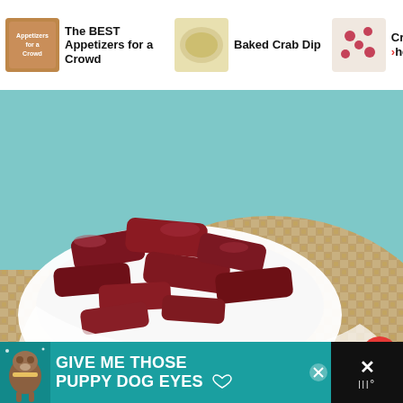[Figure (screenshot): Website navigation bar showing three recipe thumbnails: 'The BEST Appetizers for a Crowd', 'Baked Crab Dip', and 'Cranberry Bites- The Perfect...' with arrow indicators]
The BEST Appetizers for a Crowd
Baked Crab Dip
Cranberry Bites- >he Perfect...
[Figure (photo): Close-up photo of dark red/maroon beef jerky or dried meat pieces in a white rectangular dish, placed on a woven rattan placemat with a light blue background. A heart/like button (pink circle with heart icon) and share button are visible on the right side, along with a count of 10.9K.]
10.9K
[Figure (photo): Partial advertisement showing a child's face, with a close button (X) in the top right corner]
[Figure (screenshot): Bottom advertisement banner in teal/turquoise color with dog illustration on left and text 'GIVE ME THOSE PUPPY DOG EYES' with a heart icon. Black panel on right with X close button and logo.]
GIVE ME THOSE PUPPY DOG EYES